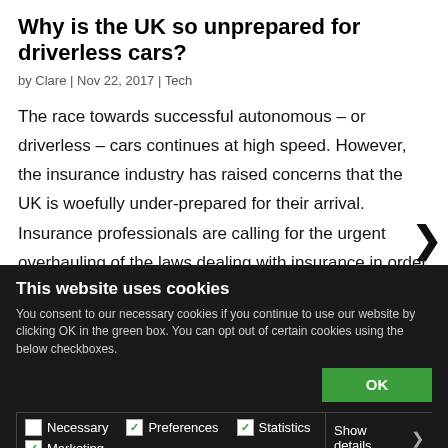Why is the UK so unprepared for driverless cars?
by Clare | Nov 22, 2017 | Tech
The race towards successful autonomous – or driverless – cars continues at high speed. However, the insurance industry has raised concerns that the UK is woefully under-prepared for their arrival. Insurance professionals are calling for the urgent overhauling of the laws dealing with insurance in order to review the issue of autonomous cars, which are expected to be on UK
This website uses cookies
You consent to our necessary cookies if you continue to use our website by clicking OK in the green box. You can opt out of certain cookies using the below checkboxes.
OK
Necessary  Preferences  Statistics  Marketing  Show details